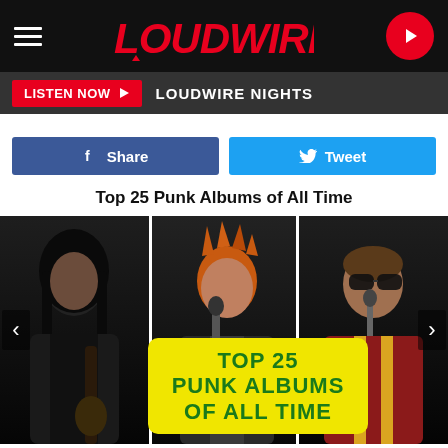LOUDWIRE
LISTEN NOW ▶  LOUDWIRE NIGHTS
f Share   🐦 Tweet
Top 25 Punk Albums of All Time
[Figure (photo): Three punk musicians performing on stage: a dark-haired guitarist (left), a spiky orange-haired vocalist (center), and a sunglasses-wearing vocalist with guitar (right). Yellow overlay reads TOP 25 PUNK ALBUMS OF ALL TIME in green text.]